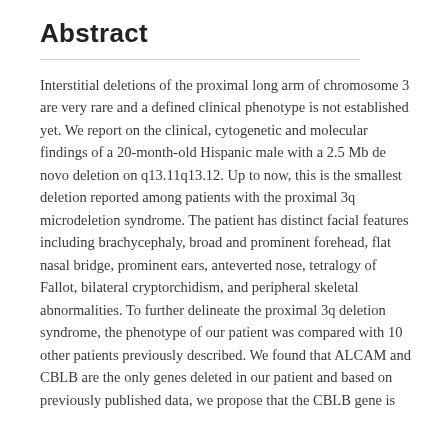Abstract
Interstitial deletions of the proximal long arm of chromosome 3 are very rare and a defined clinical phenotype is not established yet. We report on the clinical, cytogenetic and molecular findings of a 20-month-old Hispanic male with a 2.5 Mb de novo deletion on q13.11q13.12. Up to now, this is the smallest deletion reported among patients with the proximal 3q microdeletion syndrome. The patient has distinct facial features including brachycephaly, broad and prominent forehead, flat nasal bridge, prominent ears, anteverted nose, tetralogy of Fallot, bilateral cryptorchidism, and peripheral skeletal abnormalities. To further delineate the proximal 3q deletion syndrome, the phenotype of our patient was compared with 10 other patients previously described. We found that ALCAM and CBLB are the only genes deleted in our patient and based on previously published data, we propose that the CBLB gene is